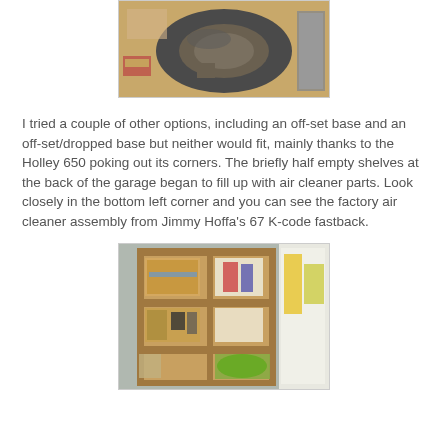[Figure (photo): Top-down view of a circular metal air cleaner base/ring component on a workbench with miscellaneous items around it]
I tried a couple of other options, including an off-set base and an off-set/dropped base but neither would fit, mainly thanks to the Holley 650 poking out its corners. The briefly half empty shelves at the back of the garage began to fill up with air cleaner parts. Look closely in the bottom left corner and you can see the factory air cleaner assembly from Jimmy Hoffa's 67 K-code fastback.
[Figure (photo): Garage shelving unit with wooden shelves filled with cardboard boxes, automotive parts, and miscellaneous items]